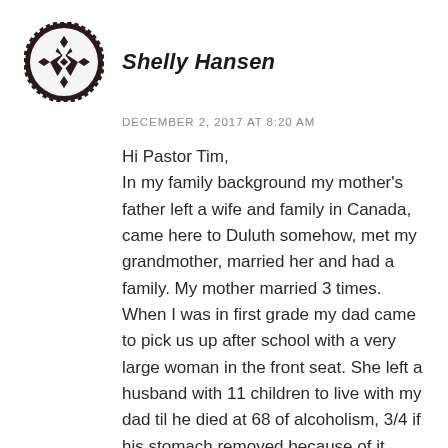[Figure (logo): Decorative geometric diamond/cross pattern logo in dark brown/black, circular shape with interlocking diamond motifs]
Shelly Hansen
DECEMBER 2, 2017 AT 8:20 AM
Hi Pastor Tim,
In my family background my mother's father left a wife and family in Canada, came here to Duluth somehow, met my grandmother, married her and had a family. My mother married 3 times. When I was in first grade my dad came to pick us up after school with a very large woman in the front seat. She left a husband with 11 children to live with my dad til he died at 68 of alcoholism, 3/4 if his stomach removed because of it. There was so much chaos throughput my life and into my marriage which ended in divorce. 6 auto accidents from age 30 until